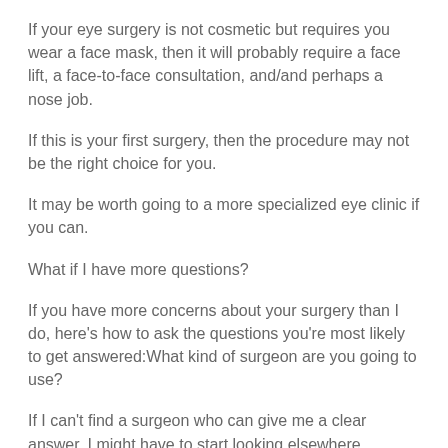If your eye surgery is not cosmetic but requires you wear a face mask, then it will probably require a face lift, a face-to-face consultation, and/and perhaps a nose job.
If this is your first surgery, then the procedure may not be the right choice for you.
It may be worth going to a more specialized eye clinic if you can.
What if I have more questions?
If you have more concerns about your surgery than I do, here's how to ask the questions you're most likely to get answered:What kind of surgeon are you going to use?
If I can't find a surgeon who can give me a clear answer, I might have to start looking elsewhere.